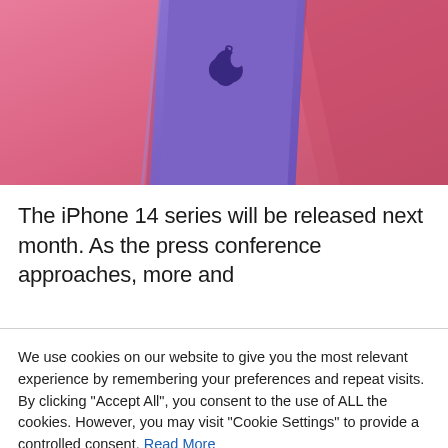[Figure (photo): A purple iPhone 14 placed on a pink background, viewed from the back showing the Apple logo. The phone is slightly angled diagonally.]
The iPhone 14 series will be released next month. As the press conference approaches, more and
We use cookies on our website to give you the most relevant experience by remembering your preferences and repeat visits. By clicking "Accept All", you consent to the use of ALL the cookies. However, you may visit "Cookie Settings" to provide a controlled consent. Read More